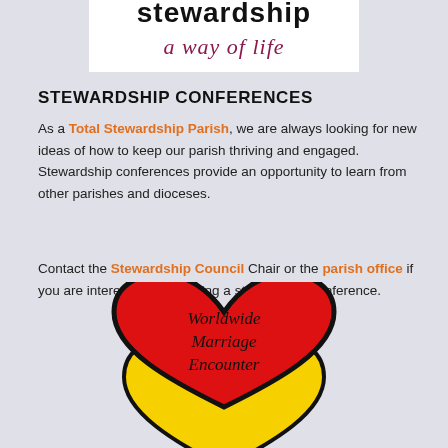[Figure (logo): Stewardship - a way of life logo with cursive italic subtitle text in red/maroon on white background]
STEWARDSHIP CONFERENCES
As a Total Stewardship Parish, we are always looking for new ideas of how to keep our parish thriving and engaged. Stewardship conferences provide an opportunity to learn from other parishes and dioceses.
Contact the Stewardship Council Chair or the parish office if you are interested in attending a stewardship conference.
[Figure (logo): Worldwide Marriage Encounter logo with red heart on top and yellow heart on bottom, both outlined in black, with 'Worldwide Marriage Encounter' text in italic serif font inside the red heart]